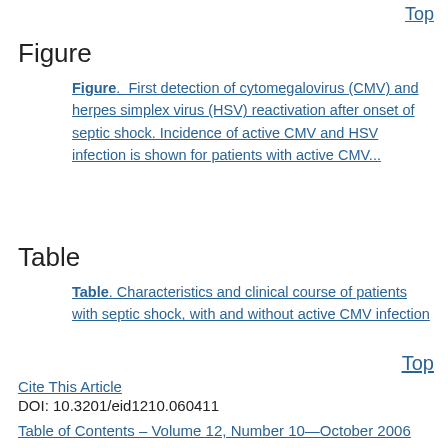Top
Figure
Figure.  First detection of cytomegalovirus (CMV) and herpes simplex virus (HSV) reactivation after onset of septic shock. Incidence of active CMV and HSV infection is shown for patients with active CMV...
Table
Table. Characteristics and clinical course of patients with septic shock, with and without active CMV infection
Top
Cite This Article
DOI: 10.3201/eid1210.060411
Table of Contents – Volume 12, Number 10—October 2006